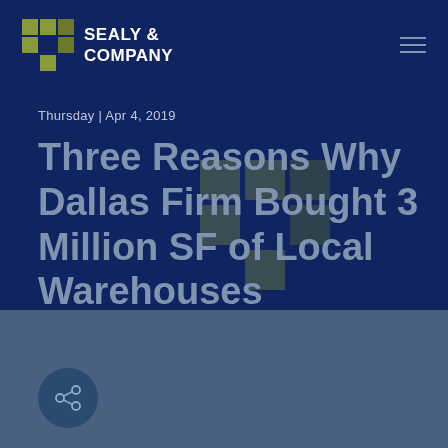SEALY & COMPANY
Thursday | Apr 4, 2019
Three Reasons Why Dallas Firm Bought 3 Million SF of Local Warehouses
[Figure (logo): Sealy & Company logo watermark overlay in center of title area]
[Figure (illustration): Share button icon — circle with connected nodes, on blue/gray bottom section]